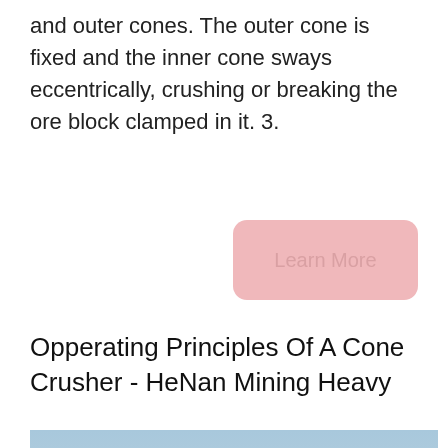and outer cones. The outer cone is fixed and the inner cone sways eccentrically, crushing or breaking the ore block clamped in it. 3.
[Figure (other): Pink rounded rectangle button labeled 'Learn More']
Opperating Principles Of A Cone Crusher - HeNan Mining Heavy
[Figure (photo): Photograph of an industrial mining or cement plant facility with large white silos/towers, conveyor structures, and Baumit branding logos visible on two large white rectangular signs. Blue sky background.]